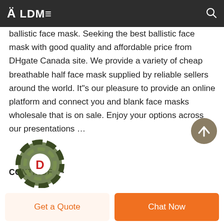ALDM≡
ballistic face mask. Seeking the best ballistic face mask with good quality and affordable price from DHgate Canada site. We provide a variety of cheap breathable half face mask supplied by reliable sellers around the world. It"s our pleasure to provide an online platform and connect you and blank face masks wholesale that is on sale. Enjoy your options across our presentations …
CONTINUE →
[Figure (logo): Circular camouflage-patterned logo with letter D in center]
[Figure (other): Scroll-to-top button, round dark tan circle with upward arrow]
Get a Quote
Chat Now